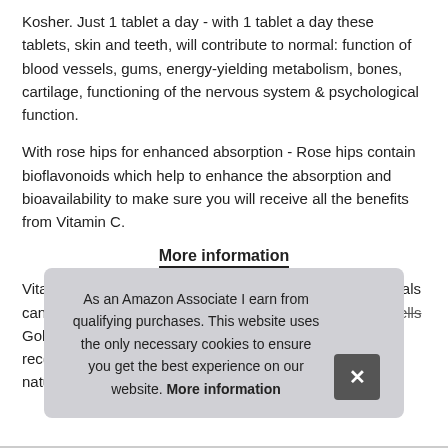Kosher. Just 1 tablet a day - with 1 tablet a day these tablets, skin and teeth, will contribute to normal: function of blood vessels, gums, energy-yielding metabolism, bones, cartilage, functioning of the nervous system & psychological function.
With rose hips for enhanced absorption - Rose hips contain bioflavonoids which help to enhance the absorption and bioavailability to make sure you will receive all the benefits from Vitamin C.
More information
Vitamin c - this vitamin helps fight free radicals Free radicals can lead to oxidative stress and the premature aging of cells Gold... rec... natu...
As an Amazon Associate I earn from qualifying purchases. This website uses the only necessary cookies to ensure you get the best experience on our website. More information